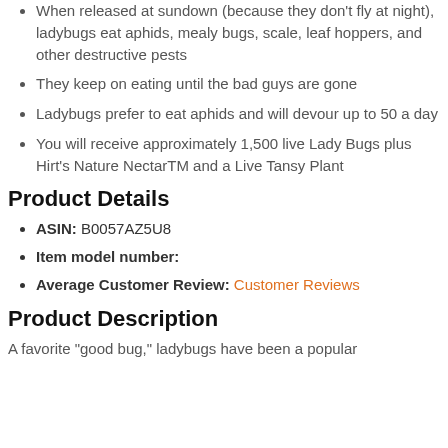When released at sundown (because they don't fly at night), ladybugs eat aphids, mealy bugs, scale, leaf hoppers, and other destructive pests
They keep on eating until the bad guys are gone
Ladybugs prefer to eat aphids and will devour up to 50 a day
You will receive approximately 1,500 live Lady Bugs plus Hirt's Nature NectarTM and a Live Tansy Plant
Product Details
ASIN: B0057AZ5U8
Item model number:
Average Customer Review: Customer Reviews
Product Description
A favorite "good bug," ladybugs have been a popular